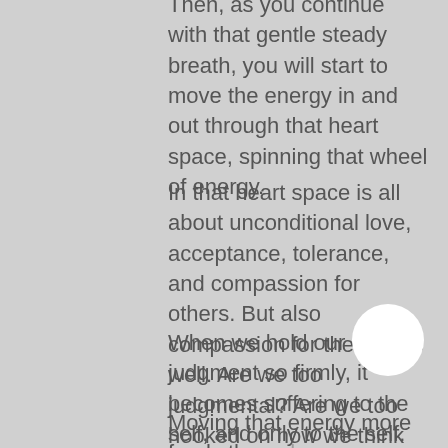Then, as you continue with that gentle steady breath, you will start to move the energy in and out through that heart space, spinning that wheel of energy.
In that heart space is all about unconditional love, acceptance, tolerance, and compassion for others. But also compassion for the self as well. Are we too judgmental? Are we too hooked on how we think things should be, rather than just allowing things to be as they are?
When we hold our judgment so firmly, it becomes suffering to the self, and only to the self.
Moving that energy more freely through...